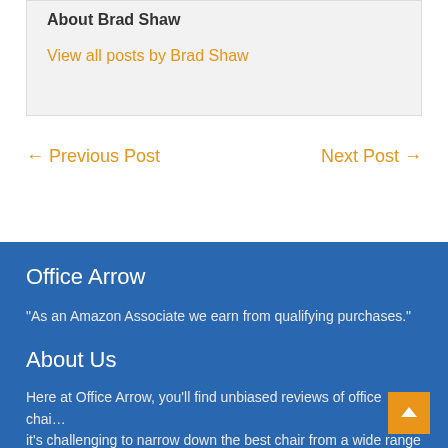About Brad Shaw
View all posts by Brad Shaw
← Previous Post
Next Post →
Office Arrow
“As an Amazon Associate we earn from qualifying purchases.”
About Us
Here at Office Arrow, you’ll find unbiased reviews of office chai… it’s challenging to narrow down the best chair from a wide range of